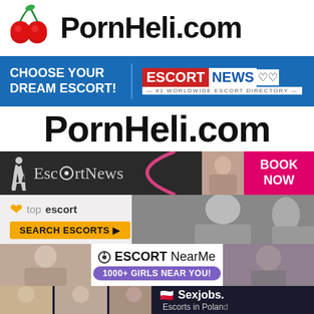[Figure (logo): PornHeli.com logo with cherry icons on left and bold site name text]
[Figure (logo): EscortNews banner - Choose Your Dream Escort on blue background with EscortNews #1 Worldwide Escort Directory logo]
PornHeli.com
[Figure (logo): EscortNews banner with silhouette logo, pink arc, dark background, BOOK NOW pink button]
[Figure (logo): TopEscort banner with heart icon, SEARCH ESCORTS button, female photo]
[Figure (logo): EscortNearMe banner with location icon and 1000+ GIRLS NEAR YOU purple badge, flanked by female photos]
[Figure (logo): Sexjobs.pl Escorts in Poland banner on dark background with Polish flag heart emoji, bottom strip with female photos]